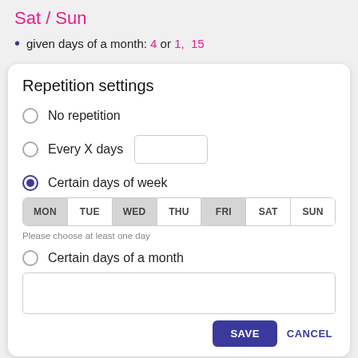Sat / Sun
given days of a month: 4 or 1, 15
Repetition settings
No repetition
Every X days
Certain days of week
MON TUE WED THU FRI SAT SUN
Please choose at least one day
Certain days of a month